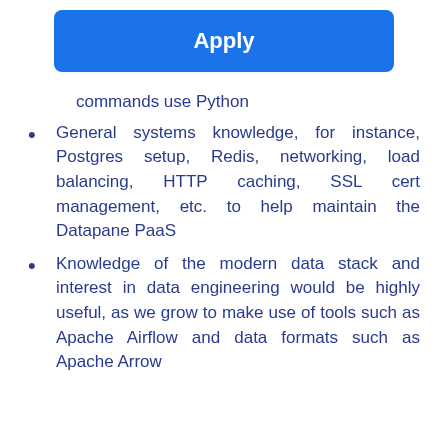Apply
commands use Python
General systems knowledge, for instance, Postgres setup, Redis, networking, load balancing, HTTP caching, SSL cert management, etc. to help maintain the Datapane PaaS
Knowledge of the modern data stack and interest in data engineering would be highly useful, as we grow to make use of tools such as Apache Airflow and data formats such as Apache Arrow